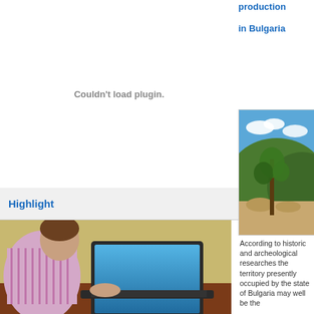Couldn't load plugin.
Highlight
[Figure (photo): Woman using a laptop computer on a wooden desk]
production

in Bulgaria
[Figure (photo): Vineyard or rocky terrain with plants under blue sky]
According to historic and archeological researches the territory presently occupied by the state of Bulgaria may well be the